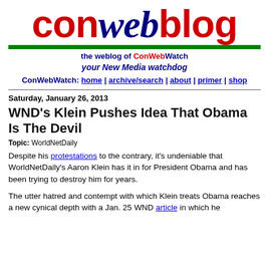[Figure (logo): ConWebBlog logo with 'con' in red, 'web' in blue italic, 'blog' in red, on white background with green bar beneath]
the weblog of ConWebWatch
your New Media watchdog
ConWebWatch: home | archive/search | about | primer | shop
Saturday, January 26, 2013
WND's Klein Pushes Idea That Obama Is The Devil
Topic: WorldNetDaily
Despite his protestations to the contrary, it's undeniable that WorldNetDaily's Aaron Klein has it in for President Obama and has been trying to destroy him for years.
The utter hatred and contempt with which Klein treats Obama reaches a new cynical depth with a Jan. 25 WND article in which he